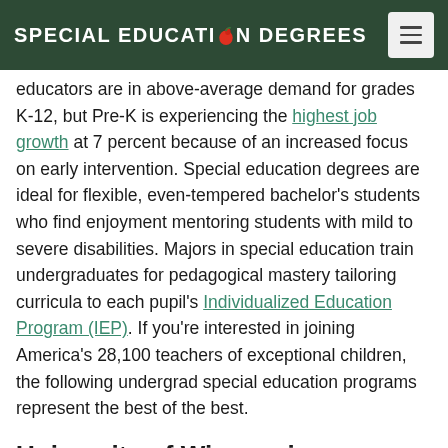SPECIAL EDUCATION DEGREES
educators are in above-average demand for grades K-12, but Pre-K is experiencing the highest job growth at 7 percent because of an increased focus on early intervention. Special education degrees are ideal for flexible, even-tempered bachelor's students who find enjoyment mentoring students with mild to severe disabilities. Majors in special education train undergraduates for pedagogical mastery tailoring curricula to each pupil's Individualized Education Program (IEP). If you're interested in joining America's 28,100 teachers of exceptional children, the following undergrad special education programs represent the best of the best.
University of Wisconsin – Madison